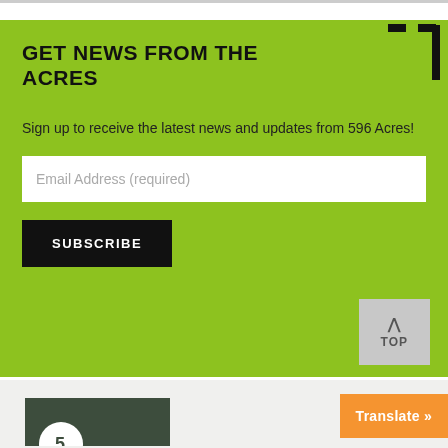GET NEWS FROM THE ACRES
Sign up to receive the latest news and updates from 596 Acres!
Email Address (required)
SUBSCRIBE
TOP
Translate »